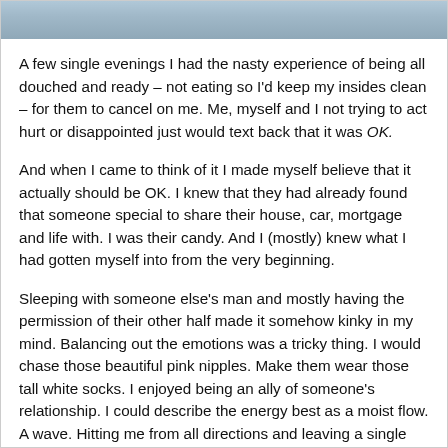[Figure (photo): Partial photo strip at top of page showing a blurred image with blue/teal tones]
A few single evenings I had the nasty experience of being all douched and ready – not eating so I'd keep my insides clean – for them to cancel on me. Me, myself and I not trying to act hurt or disappointed just would text back that it was OK.
And when I came to think of it I made myself believe that it actually should be OK. I knew that they had already found that someone special to share their house, car, mortgage and life with. I was their candy. And I (mostly) knew what I had gotten myself into from the very beginning.
Sleeping with someone else's man and mostly having the permission of their other half made it somehow kinky in my mind. Balancing out the emotions was a tricky thing. I would chase those beautiful pink nipples. Make them wear those tall white socks. I enjoyed being an ally of someone's relationship. I could describe the energy best as a moist flow. A wave. Hitting me from all directions and leaving a single blood stain. Rinsed.